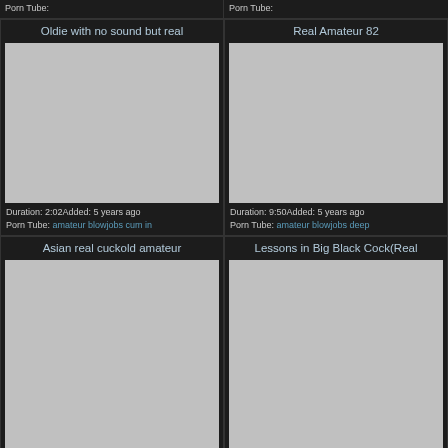Porn Tube:
Porn Tube:
Oldie with no sound but real
[Figure (photo): Gray placeholder thumbnail for video]
Duration: 2:02Added: 5 years ago
Porn Tube: amateur blowjobs cum in
Real Amateur 82
[Figure (photo): Gray placeholder thumbnail for video]
Duration: 9:50Added: 5 years ago
Porn Tube: amateur blowjobs deep
Asian real cuckold amateur
[Figure (photo): Gray placeholder thumbnail for video]
Lessons in Big Black Cock(Real
[Figure (photo): Gray placeholder thumbnail for video]